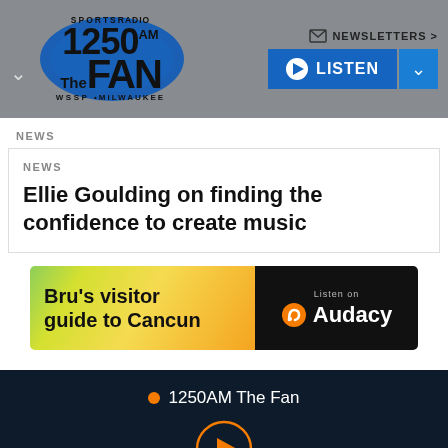[Figure (logo): Sports Radio 1250AM The Fan WSSP Milwaukee logo with blue oval, chevron down, newsletters link, and listen/play button in header]
NEWS
Ellie Goulding on finding the confidence to create music
[Figure (illustration): Bru's visitor guide to Cancun advertisement banner with gradient green-yellow-orange background on left and black Audacy logo on right]
1250AM The Fan
[Figure (other): Orange circular play button on dark navy background]